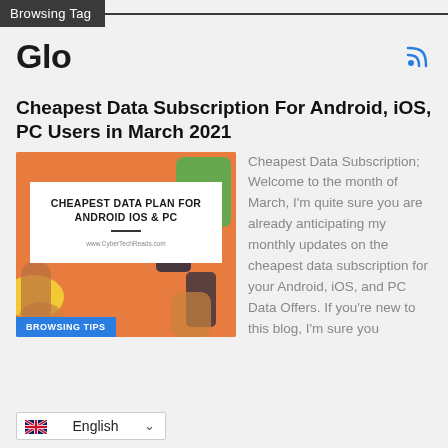Browsing Tag
Glo
Cheapest Data Subscription For Android, iOS, PC Users in March 2021
[Figure (illustration): Thumbnail image with orange background, hands holding devices, a white card reading CHEAPEST DATA PLAN FOR ANDROID IOS & PC, and a blue BROWSING TIPS badge at the bottom left.]
Cheapest Data Subscription; Welcome to the month of March, I'm quite sure you are already anticipating my monthly updates on the cheapest data subscription for your Android, iOS, and PC Data Offers. If you're new to this blog, I'm sure you